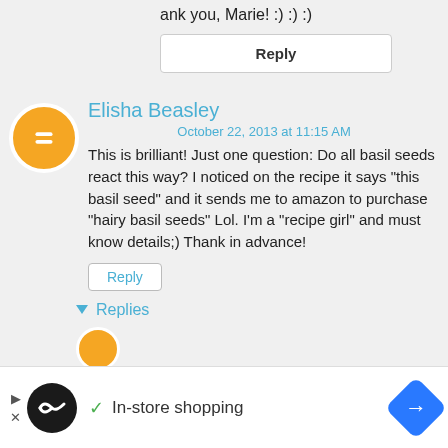ank you, Marie! :) :) :)
Reply
Elisha Beasley
October 22, 2013 at 11:15 AM
This is brilliant! Just one question: Do all basil seeds react this way? I noticed on the recipe it says "this basil seed" and it sends me to amazon to purchase "hairy basil seeds" Lol. I'm a "recipe girl" and must know details;) Thank in advance!
Reply
Replies
In-store shopping